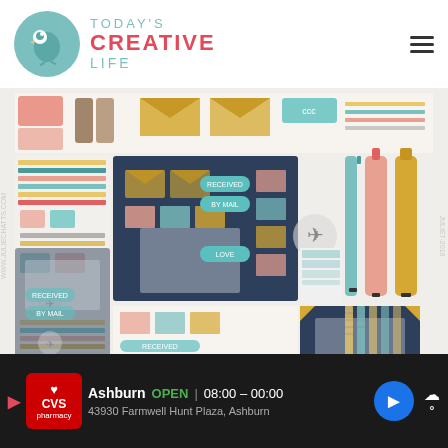[Figure (logo): Today's Creative Life logo with teal bird circle and brand name]
[Figure (photo): Sticker sheet product image - 'The Ones with Happy Mail' downloadable/printable planner stickers featuring envelopes, stamps, pens, notebooks in teal, coral, yellow and navy colors. Watermark text WWW.JULIECHATTS.COM and JULIET-2018 visible on sides.]
The Ones with Happy Mail - Downloadable / Printable - #HMDP101
[Figure (infographic): Advertisement bar: CVS Pharmacy logo, Ashburn OPEN 08:00-00:00, 43930 Farmwell Hunt Plaza Ashburn, map direction icon, weather icon]